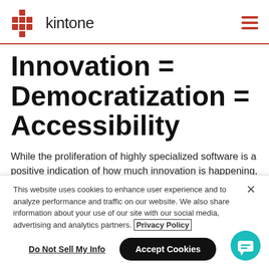kintone
Innovation = Democratization = Accessibility
While the proliferation of highly specialized software is a positive indication of how much innovation is happening,
This website uses cookies to enhance user experience and to analyze performance and traffic on our website. We also share information about your use of our site with our social media, advertising and analytics partners. Privacy Policy
Do Not Sell My Info
Accept Cookies